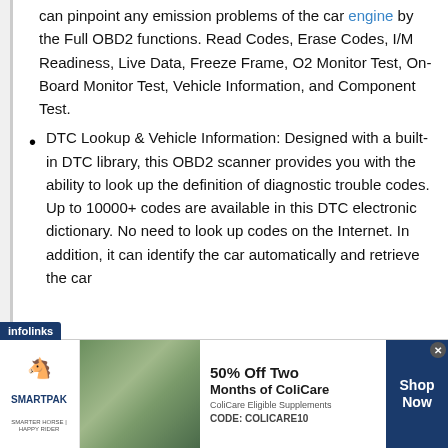can pinpoint any emission problems of the car engine by the Full OBD2 functions. Read Codes, Erase Codes, I/M Readiness, Live Data, Freeze Frame, O2 Monitor Test, On-Board Monitor Test, Vehicle Information, and Component Test.
DTC Lookup & Vehicle Information: Designed with a built-in DTC library, this OBD2 scanner provides you with the ability to look up the definition of diagnostic trouble codes. Up to 10000+ codes are available in this DTC electronic dictionary. No need to look up codes on the Internet. In addition, it can identify the car automatically and retrieve the car
[Figure (infographic): SmartPak advertisement banner: 50% Off Two Months of ColiCare, ColiCare Eligible Supplements, CODE: COLICARE10, Shop Now button. Features SmartPak logo with horse and a photo of a woman with a horse.]